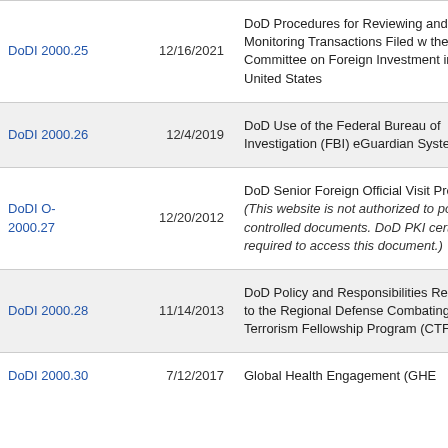|  | Date | Title |
| --- | --- | --- |
| DoDI 2000.25 | 12/16/2021 | DoD Procedures for Reviewing and Monitoring Transactions Filed with the Committee on Foreign Investment in the United States |
| DoDI 2000.26 | 12/4/2019 | DoD Use of the Federal Bureau of Investigation (FBI) eGuardian System |
| DoDI O-2000.27 | 12/20/2012 | DoD Senior Foreign Official Visit Program (This website is not authorized to post controlled documents. DoD PKI certificate required to access this document.) |
| DoDI 2000.28 | 11/14/2013 | DoD Policy and Responsibilities Relating to the Regional Defense Combating Terrorism Fellowship Program (CTFP) |
| DoDI 2000.30 | 7/12/2017 | Global Health Engagement (GHE) |